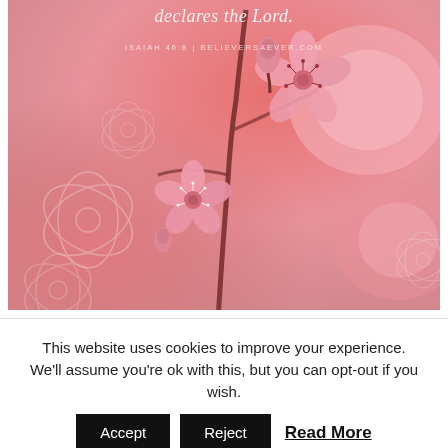[Figure (photo): Close-up photo of pink cherry blossoms / sakura flowers on branches, with floral decorative line art overlay on a soft pink background. Text overlay reads: 'declares the Lord.' and 'ISAIAH 46:8 | BELIEVERSAEVER.COM']
This website uses cookies to improve your experience. We'll assume you're ok with this, but you can opt-out if you wish.
Accept   Reject   Read More